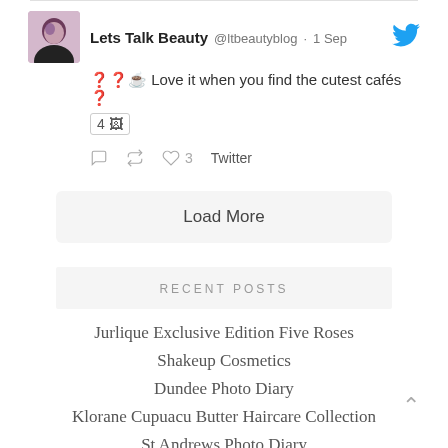[Figure (screenshot): Tweet from Lets Talk Beauty (@ltbeautyblog) dated 1 Sep with text about finding cute cafes, showing 4 photos, with reply/retweet/like icons and Twitter link]
Load More
RECENT POSTS
Jurlique Exclusive Edition Five Roses
Shakeup Cosmetics
Dundee Photo Diary
Klorane Cupuacu Butter Haircare Collection
St Andrews Photo Diary